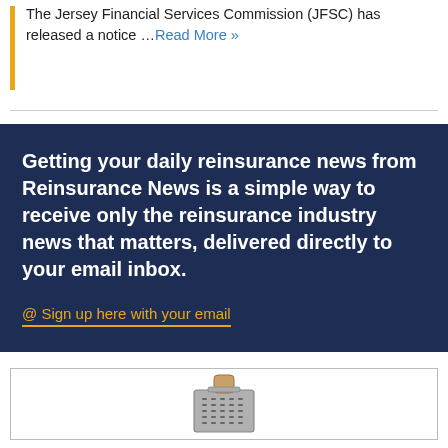The Jersey Financial Services Commission (JFSC) has released a notice …Read More »
Getting your daily reinsurance news from Reinsurance News is a simple way to receive only the reinsurance industry news that matters, delivered directly to your email inbox.
@ Sign up here with your email
[Figure (photo): A metal box grater with a wooden handle on a white background]